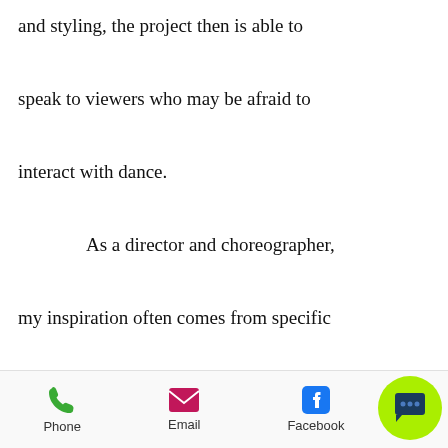and styling, the project then is able to speak to viewers who may be afraid to interact with dance.

    As a director and choreographer, my inspiration often comes from specific dancers or a sensation or a mood that is quite distinct in my head, but hard to put into words. It's a [partially obscured] be uncovered th[rough] casting, movement, music and a dis[tinct]
[Figure (screenshot): Chat popup overlay showing NB avatar icon, close X button, and message 'Got any questions? I'm happy to help.']
Phone   Email   Facebook